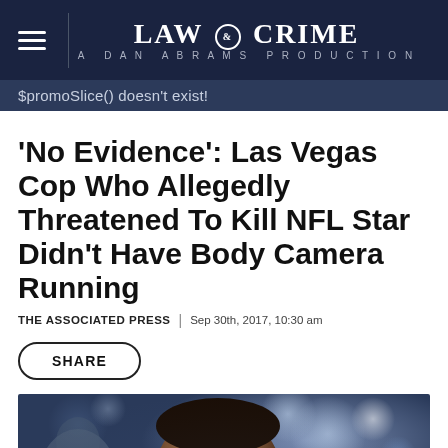LAW & CRIME — A DAN ABRAMS PRODUCTION
$promoSlice() doesn't exist!
'No Evidence': Las Vegas Cop Who Allegedly Threatened To Kill NFL Star Didn't Have Body Camera Running
THE ASSOCIATED PRESS | Sep 30th, 2017, 10:30 am
SHARE
[Figure (photo): Close-up photograph of a Black man with short hair and a beard, slightly out of focus background with blue and white bokeh lights]